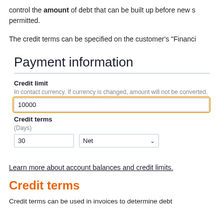control the amount of debt that can be built up before new s permitted.
The credit terms can be specified on the customer's "Financi
Payment information
Credit limit
In contact currency. If currency is changed, amount will not be converted.
10000
Credit terms
(Days)
30
Net
Learn more about account balances and credit limits.
Credit terms
Credit terms can be used in invoices to determine debt